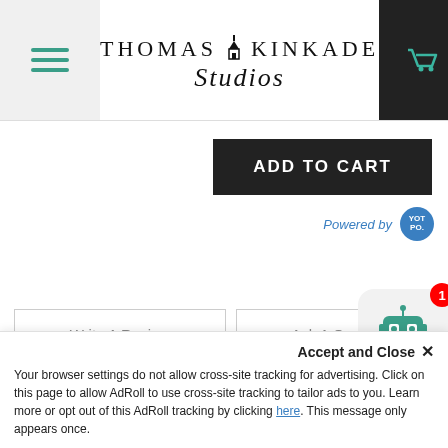[Figure (screenshot): Thomas Kinkade Studios website header with hamburger menu, logo, and cart icon]
ADD TO CART
Powered by [Yotpo]
Write A Review
Ask A Question
REVIEWS
QUESTIONS
Accept and Close ✕
Your browser settings do not allow cross-site tracking for advertising. Click on this page to allow AdRoll to use cross-site tracking to tailor ads to you. Learn more or opt out of this AdRoll tracking by clicking here. This message only appears once.